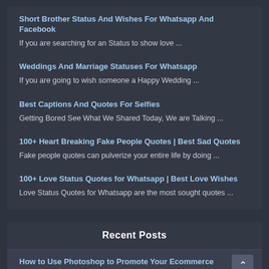Short Brother Status And Wishes For Whatsapp And Facebook
If you are searching for an Status to show love ...
Weddings And Marriage Statuses For Whatsapp
If you are going to wish someone a Happy Wedding ...
Best Captions And Quotes For Selfies
Getting Bored See What We Shared Today, We are Talking ...
100+ Heart Breaking Fake People Quotes | Best Sad Quotes
Fake people quotes can pulverize your entire life by doing ...
100+ Love Status Quotes for Whatsapp | Best Love Wishes
Love Status Quotes for Whatsapp are the most sought quotes ...
Recent Posts
How to Use Photoshop to Promote Your Ecommerce Business